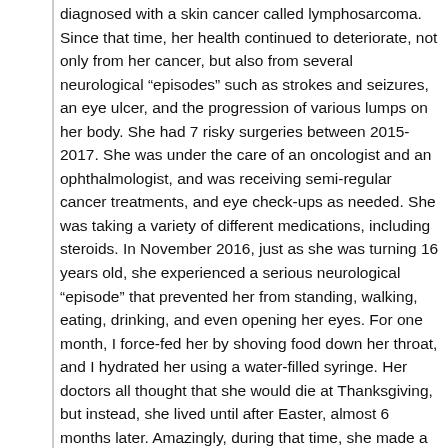diagnosed with a skin cancer called lymphosarcoma. Since that time, her health continued to deteriorate, not only from her cancer, but also from several neurological “episodes” such as strokes and seizures, an eye ulcer, and the progression of various lumps on her body. She had 7 risky surgeries between 2015-2017. She was under the care of an oncologist and an ophthalmologist, and was receiving semi-regular cancer treatments, and eye check-ups as needed. She was taking a variety of different medications, including steroids. In November 2016, just as she was turning 16 years old, she experienced a serious neurological “episode” that prevented her from standing, walking, eating, drinking, and even opening her eyes. For one month, I force-fed her by shoving food down her throat, and I hydrated her using a water-filled syringe. Her doctors all thought that she would die at Thanksgiving, but instead, she lived until after Easter, almost 6 months later. Amazingly, during that time, she made a full recovery, resuming all of